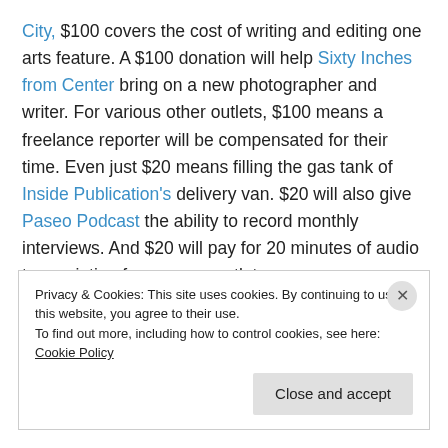City, $100 covers the cost of writing and editing one arts feature. A $100 donation will help Sixty Inches from Center bring on a new photographer and writer. For various other outlets, $100 means a freelance reporter will be compensated for their time. Even just $20 means filling the gas tank of Inside Publication's delivery van. $20 will also give Paseo Podcast the ability to record monthly interviews. And $20 will pay for 20 minutes of audio transcription for any one outlet.
Privacy & Cookies: This site uses cookies. By continuing to use this website, you agree to their use. To find out more, including how to control cookies, see here: Cookie Policy